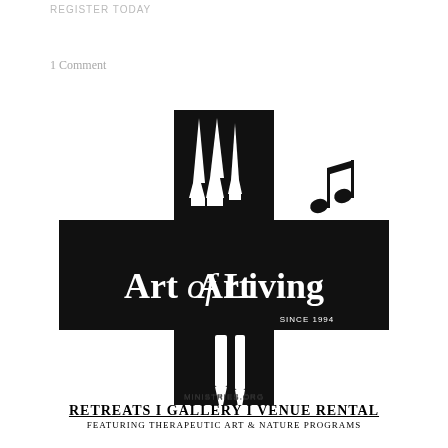REGISTER TODAY
1 Comment
[Figure (logo): Art of Living Ministries logo: a black cross shape containing three calligraphy pen nibs at top, the text 'Art of Living' in serif font, 'since 1994' text, two paintbrushes at bottom, a musical note to the upper right, and 'ministries.org' below the cross]
Retreats I Gallery I Venue Rental
Featuring Therapeutic Art & Nature Programs